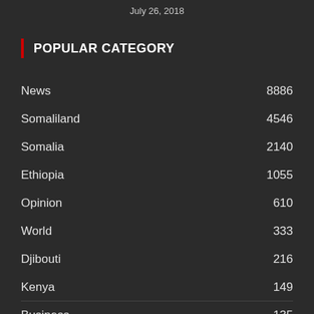July 26, 2018
POPULAR CATEGORY
News 8886
Somaliland 4546
Somalia 2140
Ethiopia 1055
Opinion 610
World 333
Djibouti 216
Kenya 149
Business 135